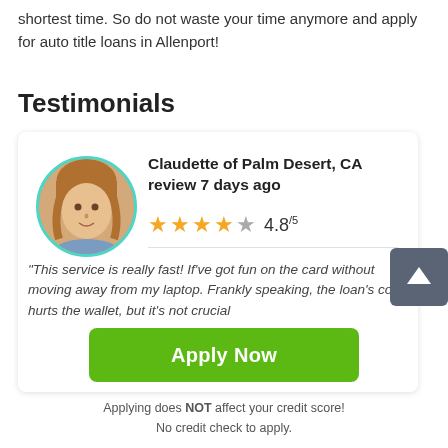shortest time. So do not waste your time anymore and apply for auto title loans in Allenport!
Testimonials
[Figure (photo): Testimonial card with photo of Claudette of Palm Desert, CA, 4.8/5 star rating, review text about fast service]
"This service is really fast! If've got fun on the card without moving away from my laptop. Frankly speaking, the loan's cost hurts the wallet, but it's not crucial
Apply Now
Applying does NOT affect your credit score!
No credit check to apply.